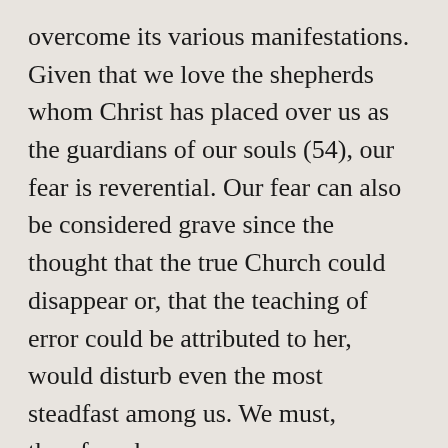overcome its various manifestations. Given that we love the shepherds whom Christ has placed over us as the guardians of our souls (54), our fear is reverential. Our fear can also be considered grave since the thought that the true Church could disappear or, that the teaching of error could be attributed to her, would disturb even the most steadfast among us. We must, therefore, be
We use cookies on our website to give you the most relevant experience by remembering your preferences and repeat visits. By clicking “Accept All”, you consent to the use of ALL the cookies. However, you may visit "Cookie Settings" to provide a controlled consent.